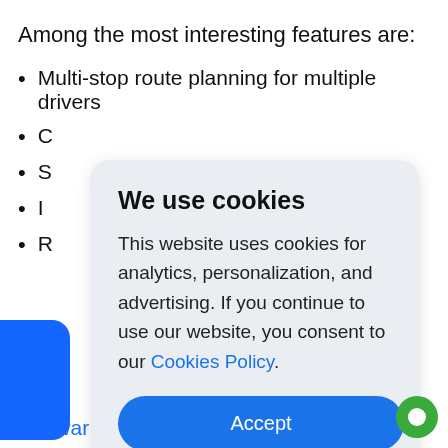Among the most interesting features are:
Multi-stop route planning for multiple drivers
C
S
I
R
We use cookies

This website uses cookies for analytics, personalization, and advertising. If you continue to use our website, you consent to our Cookies Policy.

Accept
Software will help you improve your route